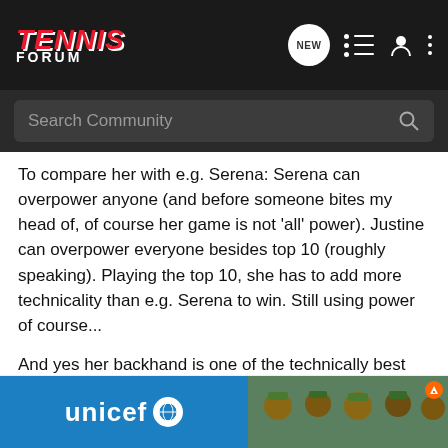TENNIS FORUM
To compare her with e.g. Serena: Serena can overpower anyone (and before someone bites my head of, of course her game is not 'all' power). Justine can overpower everyone besides top 10 (roughly speaking). Playing the top 10, she has to add more technicality than e.g. Serena to win. Still using power of course...
And yes her backhand is one of the technically best shots in the game. It seems to be much more natural than other players' backhand.
if only I was sur
[Figure (other): UNICEF advertisement banner with photo of children]